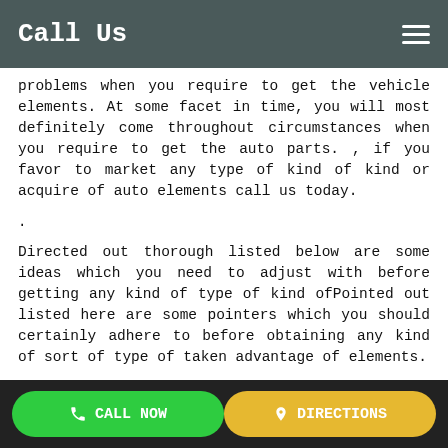Call Us
problems when you require to get the vehicle elements. At some facet in time, you will most definitely come throughout circumstances when you require to get the auto parts. , if you favor to market any type of kind of kind or acquire of auto elements call us today.
.
Directed out thorough listed below are some ideas which you need to adjust with before getting any kind of type of kind ofPointed out listed here are some pointers which you should certainly adhere to before obtaining any kind of sort of type of taken advantage of elements.
The location where you are more than likely to obtain– At the time of obtaining any kind of sort of formerly had vehicles and also vehicles as well as likewise car elements. Obtaining used car parts is never ever before similarly simple. It can be a
CALL NOW   DIRECTIONS